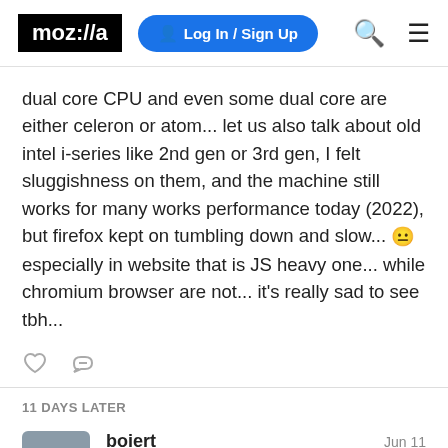moz://a  Log In / Sign Up
dual core CPU and even some dual core are either celeron or atom... let us also talk about old intel i-series like 2nd gen or 3rd gen, I felt sluggishness on them, and the machine still works for many works performance today (2022), but firefox kept on tumbling down and slow... 😐 especially in website that is JS heavy one... while chromium browser are not... it's really sad to see tbh...
11 DAYS LATER
boiert  Jun 11
benlimanto:  3 / 5